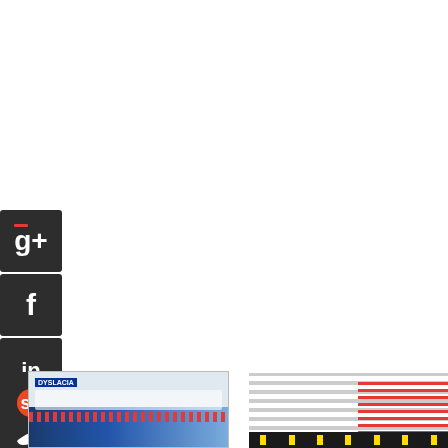[Figure (infographic): Social media share buttons: Google+, Facebook, LinkedIn, Twitter, and an additional social icon, all as dark rounded square icons stacked vertically on the left side]
hop Now
[Figure (photo): Product image bottom left - appears to be a Dyslexia or document product box with blue and white design]
[Figure (photo): Product image bottom right - appears to be a strip/label product with red and gray striped pattern]